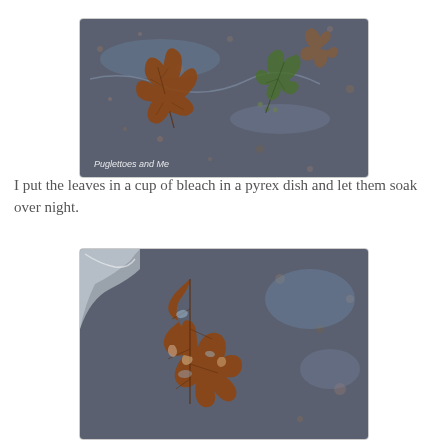[Figure (photo): Autumn leaves (a brown oak leaf and a green holly-type leaf) submerged in liquid in a pyrex dish on a granite/speckled surface. Watermark text 'Puglettoes and Me' in bottom-left corner.]
I put the leaves in a cup of bleach in a pyrex dish and let them soak over night.
[Figure (photo): Close-up macro photo of a brown/rust-colored oak leaf soaking in liquid bleach in a dish, showing the leaf veins and texture clearly, on a speckled granite surface.]